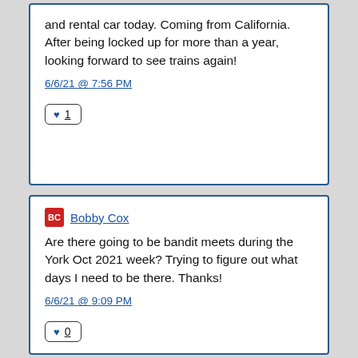and rental car today. Coming from California. After being locked up for more than a year, looking forward to see trains again!
6/6/21 @ 7:56 PM
♥ 1
Bobby Cox
Are there going to be bandit meets during the York Oct 2021 week? Trying to figure out what days I need to be there. Thanks!
6/6/21 @ 9:09 PM
♥ 0